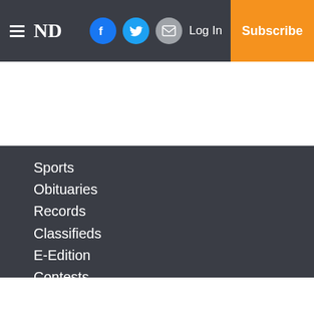ND | Log In | Subscribe
Sports
Obituaries
Records
Classifieds
E-Edition
Contests
Tracings
Small Business
Services
About Us
Subscribe
Policies
Terms of use
Submit a Photo